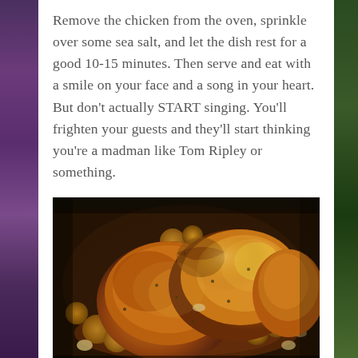Remove the chicken from the oven, sprinkle over some sea salt, and let the dish rest for a good 10-15 minutes. Then serve and eat with a smile on your face and a song in your heart. But don't actually START singing. You'll frighten your guests and they'll start thinking you're a madman like Tom Ripley or something.
[Figure (photo): A roasted whole chicken with small potatoes and onions in a dark roasting pan, golden-brown skin with herbs visible.]